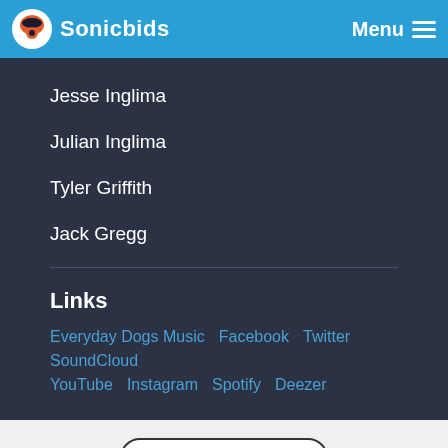Sonicbids  Menu
Jesse Inglima
Julian Inglima
Tyler Griffith
Jack Gregg
Links
Everyday Dogs Music  Facebook  Twitter  SoundCloud  YouTube  Instagram  Spotify  Deezer
Tech, Rider, Lyrics